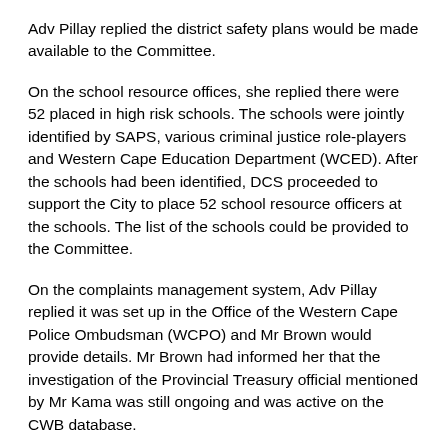Adv Pillay replied the district safety plans would be made available to the Committee.
On the school resource offices, she replied there were 52 placed in high risk schools. The schools were jointly identified by SAPS, various criminal justice role-players and Western Cape Education Department (WCED). After the schools had been identified, DCS proceeded to support the City to place 52 school resource officers at the schools. The list of the schools could be provided to the Committee.
On the complaints management system, Adv Pillay replied it was set up in the Office of the Western Cape Police Ombudsman (WCPO) and Mr Brown would provide details. Mr Brown had informed her that the investigation of the Provincial Treasury official mentioned by Mr Kama was still ongoing and was active on the CWB database.
Mr Mohammed Frizlar, DSC CFO, replied to the question on the audit report. The auditors indicated that if there were material findings they would be reported under the heading of 'predetermined objectives' within the final audit report. During the 2019/20 audit there had been a finding deemed not material